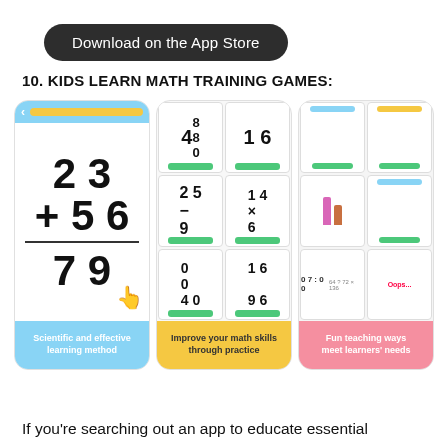[Figure (other): Download on the App Store button - dark rounded rectangle badge]
10. KIDS LEARN MATH TRAINING GAMES:
[Figure (screenshot): Three smartphone app screenshots for Kids Learn Math Training Games. Left card shows arithmetic problem 23 + 56 = 79 with blue header and caption 'Scientific and effective learning method'. Middle card shows flashcard-style math practice cards with numbers 4,8,8,0,16,25-9,14×6,40,16,96 and yellow bottom with caption 'Improve your math skills through practice'. Right card shows gamified learning screens with animal characters, timer 07:00, equation 64?72×136, and pink bottom with caption 'Fun teaching ways meet learners needs'.]
If you're searching out an app to educate essential